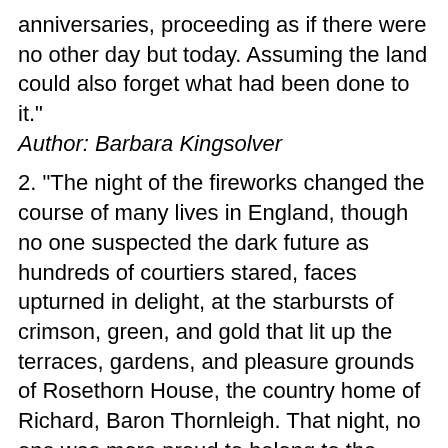anniversaries, proceeding as if there were no other day but today. Assuming the land could also forget what had been done to it."
Author: Barbara Kingsolver
2. "The night of the fireworks changed the course of many lives in England, though no one suspected the dark future as hundreds of courtiers stared, faces upturned in delight, at the starbursts of crimson, green, and gold that lit up the terraces, gardens, and pleasure grounds of Rosethorn House, the country home of Richard, Baron Thornleigh. That night, no one was more proud to belong to the baron's family than his eighteen-year-old ward, Justine Thornleigh; she had no idea that she would soon cause a deadly division in the family and ignite a struggle between two queens. Yet she was already, innocently, on a divergent path, for as Lord and Lady Thornleigh and their multitude of guests watched the dazzle of fireworks honoring the spring visit of Queen